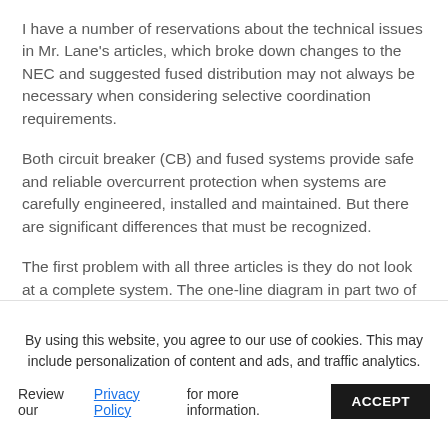I have a number of reservations about the technical issues in Mr. Lane's articles, which broke down changes to the NEC and suggested fused distribution may not always be necessary when considering selective coordination requirements.
Both circuit breaker (CB) and fused systems provide safe and reliable overcurrent protection when systems are carefully engineered, installed and maintained. But there are significant differences that must be recognized.
The first problem with all three articles is they do not look at a complete system. The one-line diagram in part two of the series, The Skinny on Switchgear and the New NEC .reaker would
By using this website, you agree to our use of cookies. This may include personalization of content and ads, and traffic analytics.
Review our Privacy Policy for more information.